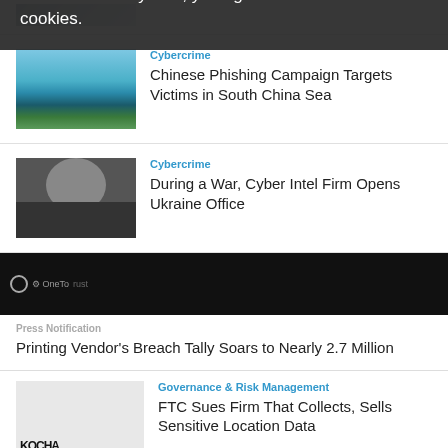[Figure (photo): Partial view of person at top of page (cropped)]
[Figure (photo): Scenic landscape photo with blue ocean water, mountains and rocky coastline under blue sky]
Cybercrime
Chinese Phishing Campaign Targets Victims in South China Sea
[Figure (photo): Portrait photo of a man in suit]
Cybercrime
During a War, Cyber Intel Firm Opens Ukraine Office
[Figure (logo): OneTrust logo on dark background]
Press Notification
Printing Vendor's Breach Tally Soars to Nearly 2.7 Million
[Figure (logo): KOCHA logo]
Governance & Risk Management
FTC Sues Firm That Collects, Sells Sensitive Location Data
[Figure (logo): FTC / Trade Commission seal logo]
Our website uses cookies. Cookies enable us to provide the best experience possible and help us understand how visitors use our website. By browsing databreachtoday.com, you agree to our use of cookies.